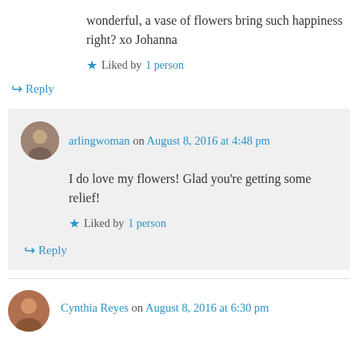wonderful, a vase of flowers bring such happiness right? xo Johanna
★ Liked by 1 person
↪ Reply
arlingwoman on August 8, 2016 at 4:48 pm
I do love my flowers! Glad you're getting some relief!
★ Liked by 1 person
↪ Reply
Cynthia Reyes on August 8, 2016 at 6:30 pm